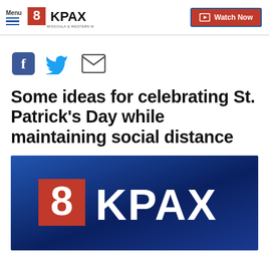Menu | 8KPAX Missoula & Western Montana | Watch Now
[Figure (logo): Social share icons: Facebook, Twitter, Email]
Some ideas for celebrating St. Patrick's Day while maintaining social distance
[Figure (logo): 8KPAX logo on dark blue background]